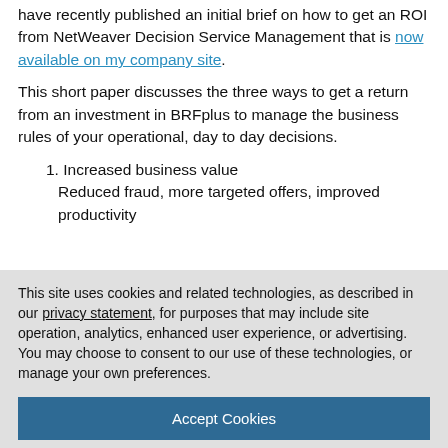have recently published an initial brief on how to get an ROI from NetWeaver Decision Service Management that is now available on my company site.
This short paper discusses the three ways to get a return from an investment in BRFplus to manage the business rules of your operational, day to day decisions.
1. Increased business value
Reduced fraud, more targeted offers, improved productivity
This site uses cookies and related technologies, as described in our privacy statement, for purposes that may include site operation, analytics, enhanced user experience, or advertising. You may choose to consent to our use of these technologies, or manage your own preferences.
Accept Cookies
More Information
Privacy Policy | Powered by: TrustArc
Oursten's book "BRFplus" – Business Rule Management for ABAP Applications. If you have any questions about the book, it will